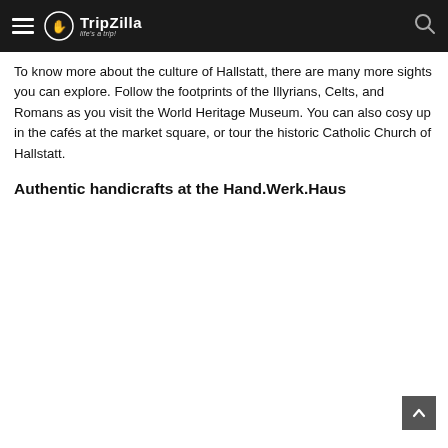TripZilla — life's a trip!
To know more about the culture of Hallstatt, there are many more sights you can explore. Follow the footprints of the Illyrians, Celts, and Romans as you visit the World Heritage Museum. You can also cosy up in the cafés at the market square, or tour the historic Catholic Church of Hallstatt.
Authentic handicrafts at the Hand.Werk.Haus